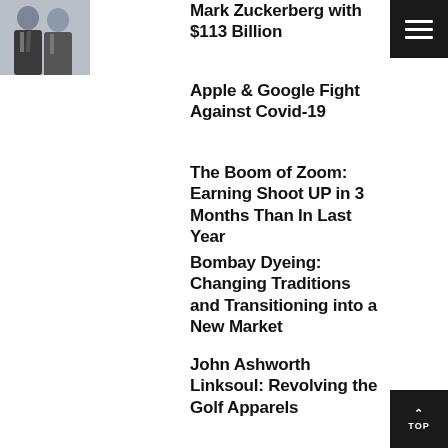[Figure (photo): Photo of two people in suits, partially visible at top left]
Mark Zuckerberg with $113 Billion
Apple & Google Fight Against Covid-19
The Boom of Zoom: Earning Shoot UP in 3 Months Than In Last Year
Bombay Dyeing: Changing Traditions and Transitioning into a New Market
John Ashworth Linksoul: Revolving the Golf Apparels